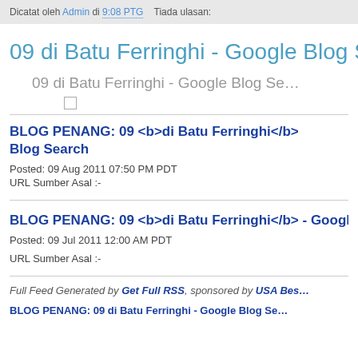Dicatat oleh Admin di 9:08 PTG   Tiada ulasan:
09 di Batu Ferringhi - Google Blog Search
09 di Batu Ferringhi - Google Blog Se...
BLOG PENANG: 09 <b>di Batu Ferringhi</b> - Google Blog Search
Posted: 09 Aug 2011 07:50 PM PDT
URL Sumber Asal :-
BLOG PENANG: 09 <b>di Batu Ferringhi</b> - Google Blog...
Posted: 09 Jul 2011 12:00 AM PDT
URL Sumber Asal :-
Full Feed Generated by Get Full RSS, sponsored by USA Bes...
BLOG PENANG: 09 di Batu Ferringhi - Google Blog Se...